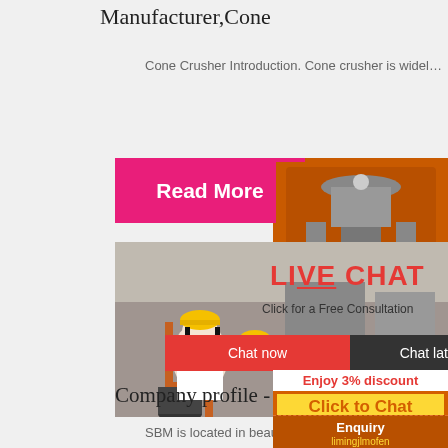Manufacturer,Cone
Cone Crusher Introduction. Cone crusher is widel…
[Figure (screenshot): Pink 'Read More' button]
[Figure (screenshot): Live chat popup with workers in hard hats, LIVE CHAT heading in red, 'Click for a Free Consultation', Chat now (red) and Chat later (dark) buttons, and close circle button]
[Figure (screenshot): Orange sidebar with machinery images, 'Enjoy 3% discount' banner in white/red, 'Click to Chat' in yellow on orange, dashed separator, Enquiry text, limingjlmofen@sina.com email]
Company profile - shanghai SBM
SBM is located in beautiful Pudong Distri…